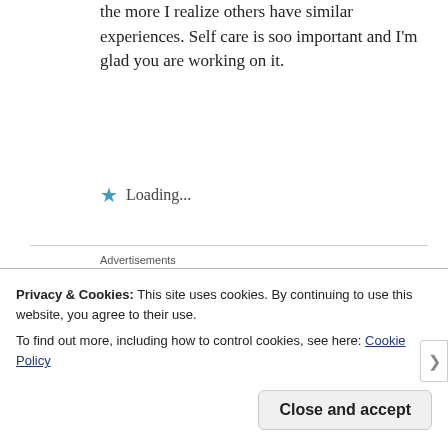the more I realize others have similar experiences. Self care is soo important and I'm glad you are working on it.
★ Loading...
Advertisements
[Figure (logo): Longreads logo with red circle L and brand name LONGREADS, tagline: Bringing you the best stories on the web since 2009.]
REPORT THIS AD
Privacy & Cookies: This site uses cookies. By continuing to use this website, you agree to their use.
To find out more, including how to control cookies, see here: Cookie Policy
Close and accept